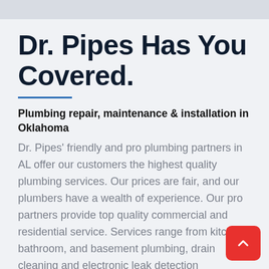Dr. Pipes Has You Covered.
Plumbing repair, maintenance & installation in Oklahoma
Dr. Pipes' friendly and pro plumbing partners in AL offer our customers the highest quality plumbing services. Our prices are fair, and our plumbers have a wealth of experience. Our pro partners provide top quality commercial and residential service. Services range from kitchen, bathroom, and basement plumbing, drain cleaning and electronic leak detection